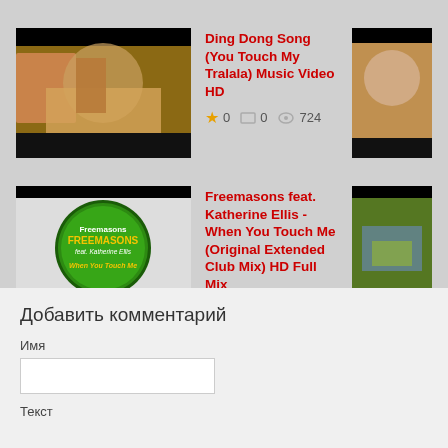[Figure (screenshot): Video thumbnail for Ding Dong Song - beach scene with people]
Ding Dong Song (You Touch My Tralala) Music Video HD
★ 0  🖼 0  👁 724
[Figure (screenshot): Right-side video thumbnail showing blonde woman]
[Figure (screenshot): Video thumbnail for Freemasons feat. Katherine Ellis - When You Touch Me - green circle logo]
Freemasons feat. Katherine Ellis - When You Touch Me (Original Extended Club Mix) HD Full Mix
★ 0  🖼 0  👁 508
[Figure (screenshot): Right-side video thumbnail showing outdoor scene]
Добавить комментарий
Имя
Текст